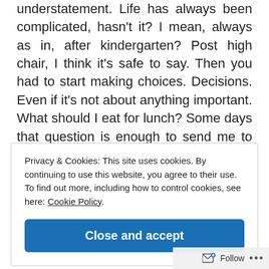understatement. Life has always been complicated, hasn't it? I mean, always as in, after kindergarten? Post high chair, I think it's safe to say. Then you had to start making choices. Decisions. Even if it's not about anything important. What should I eat for lunch? Some days that question is enough to send me to my room, bury me under the covers and just avoid food altogether... Stupid food, demanding I choose... The nerve. That reminds me, actually, of the million dollar
Privacy & Cookies: This site uses cookies. By continuing to use this website, you agree to their use.
To find out more, including how to control cookies, see here: Cookie Policy
Close and accept
Follow ...